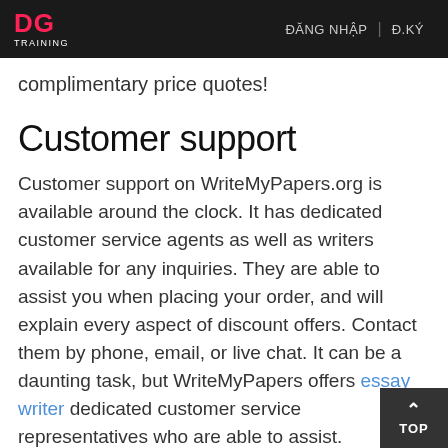DG TRAINING | ĐĂNG NHẬP | Đ.KÝ
complimentary price quotes!
Customer support
Customer support on WriteMyPapers.org is available around the clock. It has dedicated customer service agents as well as writers available for any inquiries. They are able to assist you when placing your order, and will explain every aspect of discount offers. Contact them by phone, email, or live chat. It can be a daunting task, but WriteMyPapers offers essay writer dedicated customer service representatives who are able to assist.
WriteMyPaper's website looks professional. The colors and layout is similar to that of competitors, but the website has more details than the usual buy college essay papers writing service. An